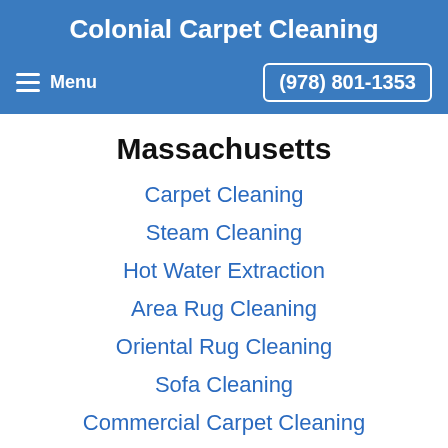Colonial Carpet Cleaning
Menu  (978) 801-1353
Massachusetts
Carpet Cleaning
Steam Cleaning
Hot Water Extraction
Area Rug Cleaning
Oriental Rug Cleaning
Sofa Cleaning
Commercial Carpet Cleaning
Water Damage Restoration
Carpet Stain Removal
Odor Removal